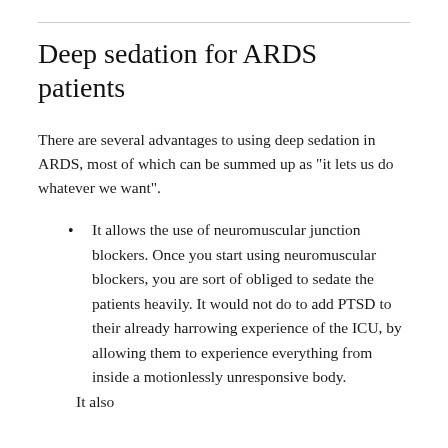Deep sedation for ARDS patients
There are several advantages to using deep sedation in ARDS, most of which can be summed up as "it lets us do whatever we want".
It allows the use of neuromuscular junction blockers. Once you start using neuromuscular blockers, you are sort of obliged to sedate the patients heavily. It would not do to add PTSD to their already harrowing experience of the ICU, by allowing them to experience everything from inside a motionlessly unresponsive body.
It also...